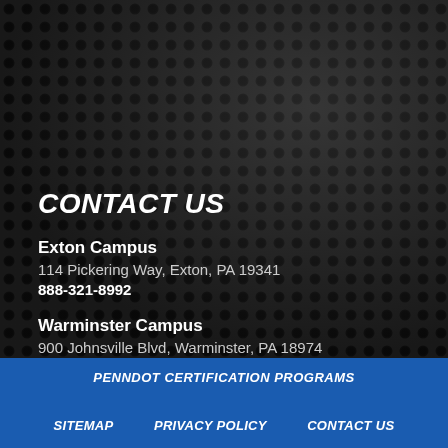CONTACT US
Exton Campus
114 Pickering Way, Exton, PA 19341
888-321-8992
Warminster Campus
900 Johnsville Blvd, Warminster, PA 18974
888-881-8140
PENNDOT CERTIFICATION PROGRAMS  SITEMAP  PRIVACY POLICY  CONTACT US